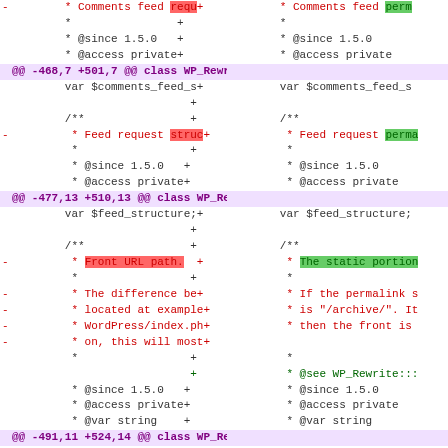[Figure (screenshot): A unified diff view showing two-column side-by-side comparison of PHP source code changes in WP_Rewrite class, showing removed lines (red) and added lines (green) with hunk headers in purple.]